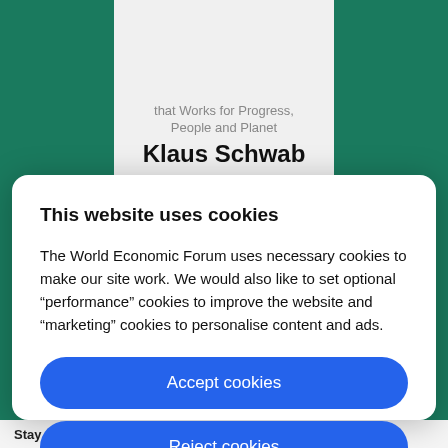[Figure (photo): Book cover showing subtitle 'that Works for Progress, People and Planet' and author name 'Klaus Schwab' on a light grey background, placed against a teal/green background.]
This website uses cookies
The World Economic Forum uses necessary cookies to make our site work. We would also like to set optional “performance” cookies to improve the website and “marketing” cookies to personalise content and ads.
Accept cookies
Reject cookies
Cookie settings
Stay up to date: